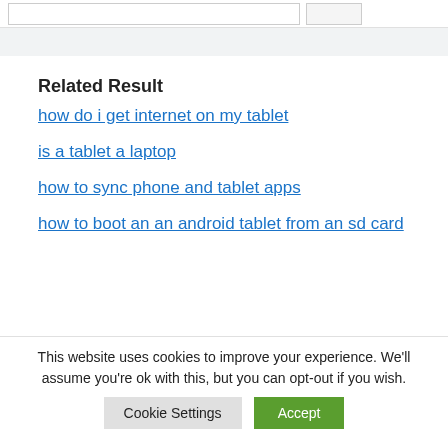Related Result
how do i get internet on my tablet
is a tablet a laptop
how to sync phone and tablet apps
how to boot an an android tablet from an sd card
This website uses cookies to improve your experience. We'll assume you're ok with this, but you can opt-out if you wish.